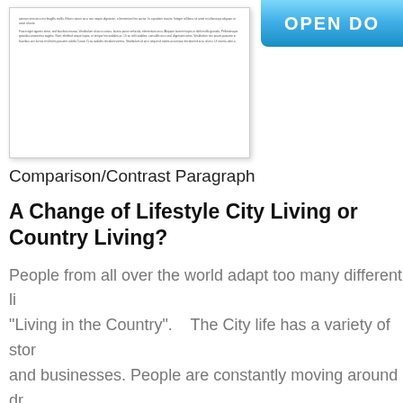[Figure (other): Preview thumbnail of a document page showing lorem ipsum placeholder text in small font.]
Comparison/Contrast Paragraph
A Change of Lifestyle City Living or Country Living?
People from all over the world adapt too many different li... "Living in the Country".   The City life has a variety of stor... and businesses. People are constantly moving around dr... the City.   The City sponsors many different social events... shopping malls and grocery stores.   There are several di... pollution and smog in the City.   The Country on the other... is familiar with each other.   There is usually no traffic in t... small little quaint stores normally on one street.   There is... one or two grocery stores.   There's a restaurant in the C... normally one fast food chain in the Country.   Everythin...